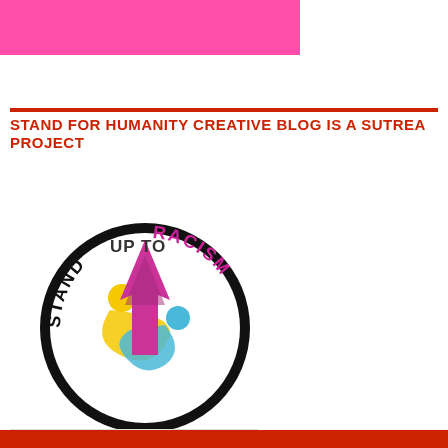[Figure (illustration): Pink horizontal banner/bar at top left]
STAND FOR HUMANITY CREATIVE BLOG IS A SUTREA PROJECT
[Figure (logo): Stand Up To Racism circular logo with magenta arrow, yellow, blue and multicolored human figures inside a black circle, with text STAND UP TO RACISM arching around the circle]